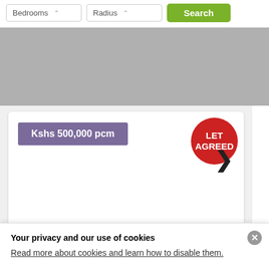[Figure (screenshot): Top search bar with Bedrooms dropdown, Radius dropdown, and green Search button]
[Figure (screenshot): Gray area placeholder for map or image content]
[Figure (screenshot): Property listing card showing price 'Kshs 500,000 pcm' in purple badge, red 'LET AGREED' circle badge, and a right chevron arrow]
Your privacy and our use of cookies
Read more about cookies and learn how to disable them.